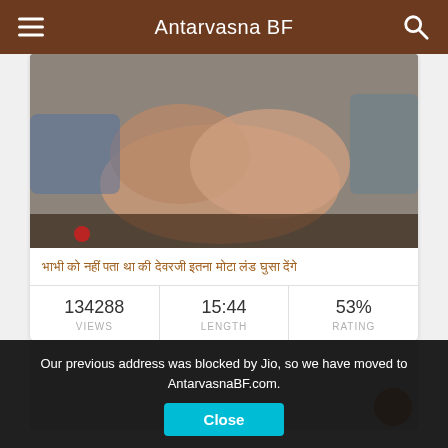Antarvasna BF
[Figure (photo): Video thumbnail showing people]
भाभी को नहीं पता था की देवरजी इतना मोटा लंड घुसा देंगे
| 134288 VIEWS | 15:44 LENGTH | 53% RATING |
| --- | --- | --- |
[Figure (other): Advertisement placeholder area]
Our previous address was blocked by Jio, so we have moved to AntarvasnaBF.com.